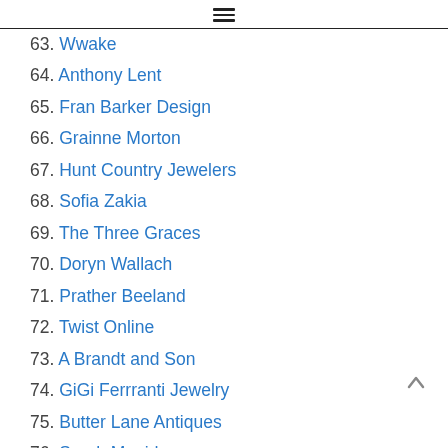☰
63. Wwake
64. Anthony Lent
65. Fran Barker Design
66. Grainne Morton
67. Hunt Country Jewelers
68. Sofia Zakia
69. The Three Graces
70. Doryn Wallach
71. Prather Beeland
72. Twist Online
73. A Brandt and Son
74. GiGi Ferrranti Jewelry
75. Butter Lane Antiques
76. Sarah Magid
77. The One I Love NYC
78. Celine Daoust